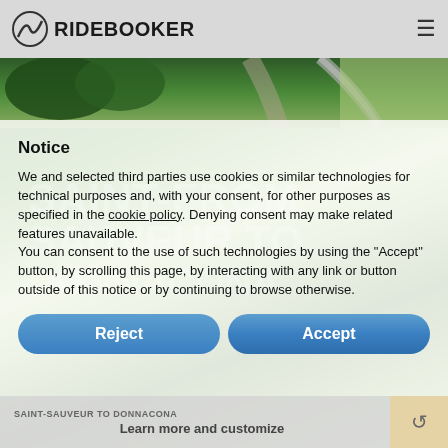RIDEBOOKER
[Figure (photo): Aerial view of a winding road through green forested landscape from above]
Notice
We and selected third parties use cookies or similar technologies for technical purposes and, with your consent, for other purposes as specified in the cookie policy. Denying consent may make related features unavailable.
You can consent to the use of such technologies by using the "Accept" button, by scrolling this page, by interacting with any link or button outside of this notice or by continuing to browse otherwise.
Reject
Accept
SAINT-SAUVEUR TO DONNACONA
Learn more and customize